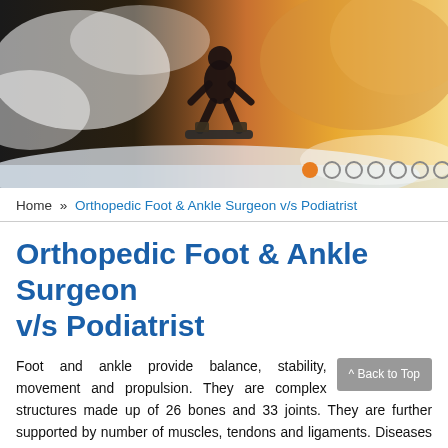[Figure (photo): A person snowboarding down a snowy slope with dramatic lighting — warm orange and gold tones on the right, icy blue-white on the left. Carousel navigation dots visible in bottom right.]
Home » Orthopedic Foot & Ankle Surgeon v/s Podiatrist
Orthopedic Foot & Ankle Surgeon v/s Podiatrist
Foot and ankle provide balance, stability, movement and propulsion. They are complex structures made up of 26 bones and 33 joints. They are further supported by number of muscles, tendons and ligaments. Diseases and disorders of ankle and foot can be treated either by a podiatrist or an orthopedic surgeon. However an orthopedic, foot and